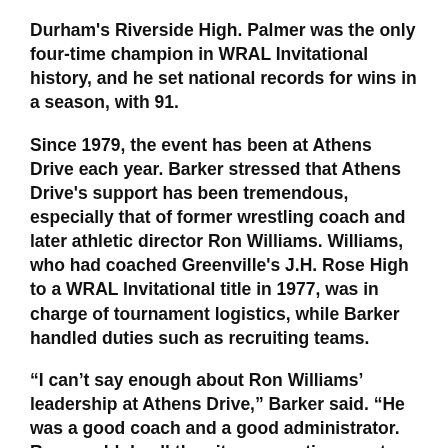Durham's Riverside High. Palmer was the only four-time champion in WRAL Invitational history, and he set national records for wins in a season, with 91.
Since 1979, the event has been at Athens Drive each year. Barker stressed that Athens Drive's support has been tremendous, especially that of former wrestling coach and later athletic director Ron Williams. Williams, who had coached Greenville's J.H. Rose High to a WRAL Invitational title in 1977, was in charge of tournament logistics, while Barker handled duties such as recruiting teams.
“I can’t say enough about Ron Williams’ leadership at Athens Drive,” Barker said. “He was a good coach and a good administrator. Ron would do all the site preparation—mats, security, concessions. You’re basically planning to care for 1,000 people for two days.”